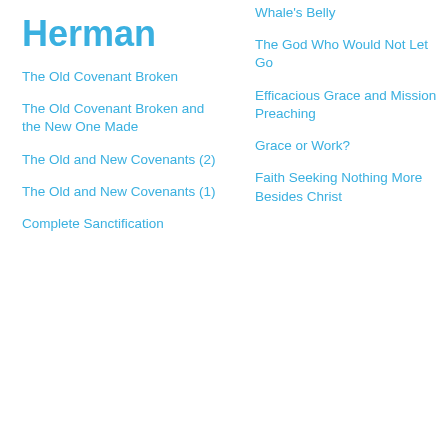Herman
The Old Covenant Broken
The Old Covenant Broken and the New One Made
The Old and New Covenants (2)
The Old and New Covenants (1)
Complete Sanctification
Whale's Belly
The God Who Would Not Let Go
Efficacious Grace and Mission Preaching
Grace or Work?
Faith Seeking Nothing More Besides Christ